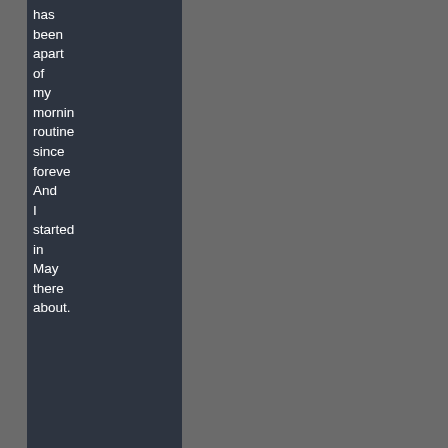has been apart of my morning routine since forever. And I started in May thereabout.
<< Comment #20 @ 09:11 CDT, 30 September 2021 >>
(Link, Reply)
By 🇬🇷 MaJunio
Hard to believe